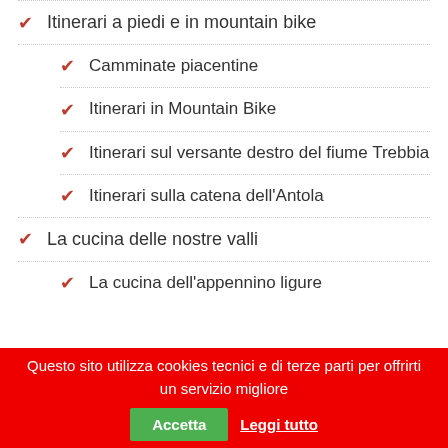Itinerari a piedi e in mountain bike
Camminate piacentine
Itinerari in Mountain Bike
Itinerari sul versante destro del fiume Trebbia
Itinerari sulla catena dell'Antola
La cucina delle nostre valli
La cucina dell'appennino ligure
Questo sito utilizza cookies tecnici e di terze parti per offrirti un servizio migliore  Accetta  Leggi tutto